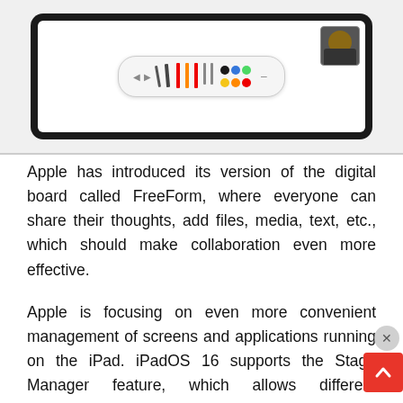[Figure (screenshot): iPad mockup showing a drawing toolbar with colorful pen/pencil icons and color dots, with a FaceTime thumbnail in the top right corner showing a person's face.]
Apple has introduced its version of the digital board called FreeForm, where everyone can share their thoughts, add files, media, text, etc., which should make collaboration even more effective.
Apple is focusing on even more convenient management of screens and applications running on the iPad. iPadOS 16 supports the Stage Manager feature, which allows different applications to share the screen. The feature will not only allow you to easily switch between open applications, but also overlay screens, which will make it easier to work with many applications simultaneously. Stage Manager in iPadOS